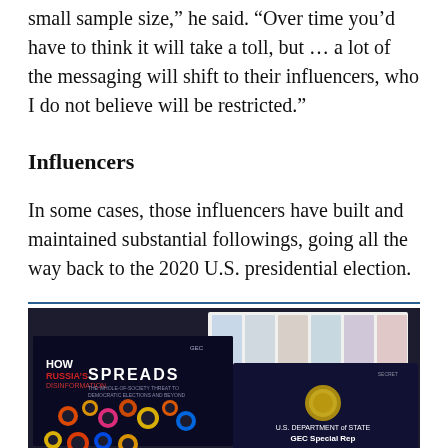small sample size,” he said. “Over time you’d have to think it will take a toll, but … a lot of the messaging will shift to their influencers, who I do not believe will be restricted.”
Influencers
In some cases, those influencers have built and maintained substantial followings, going all the way back to the 2020 U.S. presidential election.
[Figure (photo): Photo showing physical documents/booklets laid on a surface including a 'HOW RUSSIA SPREADS' infographic with colorful gear/cog diagrams and a dark background document showing U.S. Department of State seal and 'GEC Special Rep...' text, along with several card-style documents arranged above.]